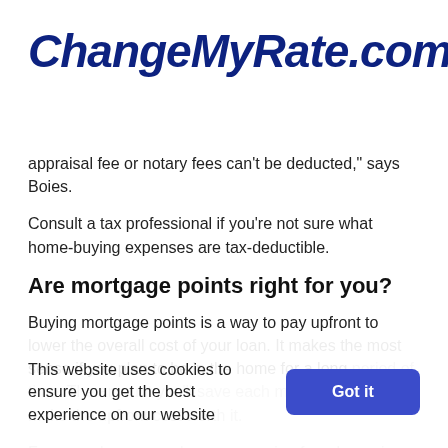[Figure (logo): ChangeMyRate.com logo in dark navy italic bold font with registered trademark symbol]
appraisal fee or notary fees can't be deducted," says Boies.
Consult a tax professional if you're not sure what home-buying expenses are tax-deductible.
Are mortgage points right for you?
Buying mortgage points is a way to pay upfront to lower the overall cost of your loan. It makes the most sense if you plan to be in the home for a long period of time. The amount you'll save each month is likely to make the upfront cost worth it.
For many borrowers, however, paying for points on top of the other costs of buying a home is...
This website uses cookies to ensure you get the best experience on our website